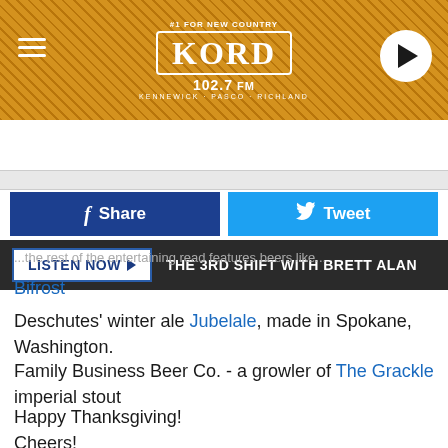[Figure (screenshot): KORD 102.7 FM radio station header banner with hamburger menu icon, KORD logo, and play button]
LISTEN NOW ▶  THE 3RD SHIFT WITH BRETT ALAN
[Figure (screenshot): Facebook Share button and Twitter Tweet button]
...the rest of the entertaining read features beers like...
Bifrost
Deschutes' winter ale Jubelale, made in Spokane, Washington.
Family Business Beer Co. - a growler of The Grackle imperial stout
Happy Thanksgiving!
Cheers!